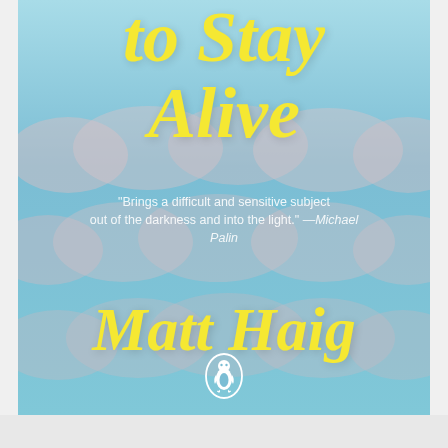[Figure (illustration): Book cover of 'Reasons to Stay Alive' by Matt Haig. Light blue sky background with soft pink/white cloud mound shapes in two rows. Large yellow italic serif title text 'to Stay Alive' at the top. White italic quote text in the middle: '"Brings a difficult and sensitive subject out of the darkness and into the light." — Michael Palin'. Large yellow italic serif author name 'Matt Haig' in the lower portion. Penguin Books logo (white penguin in oval) at the bottom center.]
to Stay Alive
"Brings a difficult and sensitive subject out of the darkness and into the light." — Michael Palin
Matt Haig